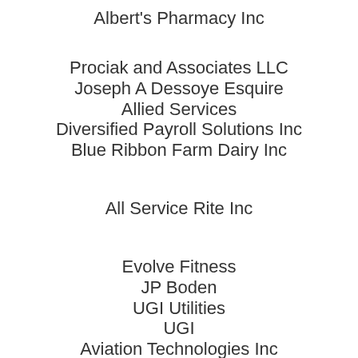Albert's Pharmacy Inc
Prociak and Associates LLC
Joseph A Dessoye Esquire
Allied Services
Diversified Payroll Solutions Inc
Blue Ribbon Farm Dairy Inc
All Service Rite Inc
Evolve Fitness
JP Boden
UGI Utilities
UGI
Aviation Technologies Inc